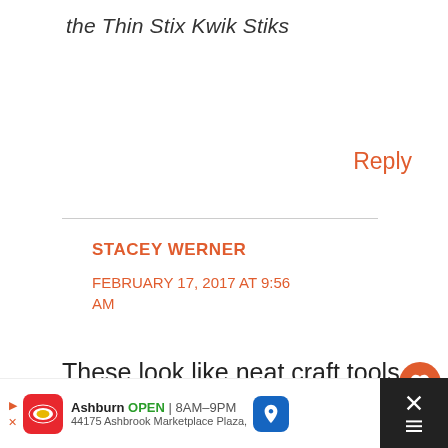the Thin Stix Kwik Stiks
Reply
STACEY WERNER
FEBRUARY 17, 2017 AT 9:56 AM
These look like neat craft tools for kids.
I will have to check into these for
Ashburn OPEN | 8AM–9PM 44175 Ashbrook Marketplace Plaza,